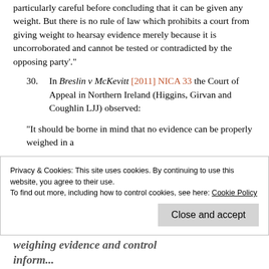particularly careful before concluding that it can be given any weight. But there is no rule of law which prohibits a court from giving weight to hearsay evidence merely because it is uncorroborated and cannot be tested or contradicted by the opposing party'.
30. In Breslin v McKevitt [2011] NICA 33 the Court of Appeal in Northern Ireland (Higgins, Girvan and Coughlin LJJ) observed:
“It should be borne in mind that no evidence can be properly weighed in a
Privacy & Cookies: This site uses cookies. By continuing to use this website, you agree to their use.
To find out more, including how to control cookies, see here: Cookie Policy